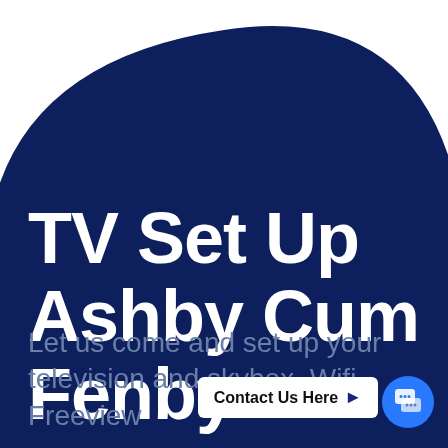[Figure (illustration): Dark navy blue rounded blob/circle shape covering the top portion and most of the page background]
TV Set Up Ashby Cum Fenby
Let us come and set up your television and skybox, Wifi, Freeview
Contact Us Here ▶